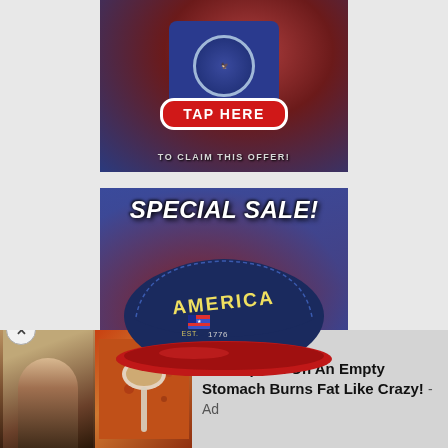[Figure (photo): Advertisement showing a navy blue t-shirt with an eagle/America emblem on a patriotic background with a TAP HERE button and 'TO CLAIM THIS OFFER!' text]
[Figure (photo): Advertisement showing an 'America Est. 1776' navy and red baseball cap on a patriotic American flag background with 'SPECIAL SALE!' text]
[Figure (photo): Native ad banner showing fitness person and spice teaspoon images with text: 'A Teaspoon On An Empty Stomach Burns Fat Like Crazy! - Ad']